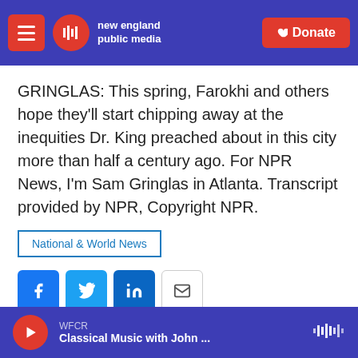new england public media | Donate
GRINGLAS: This spring, Farokhi and others hope they'll start chipping away at the inequities Dr. King preached about in this city more than half a century ago. For NPR News, I'm Sam Gringlas in Atlanta. Transcript provided by NPR, Copyright NPR.
National & World News
[Figure (other): Social sharing buttons: Facebook, Twitter, LinkedIn, Email]
[Figure (photo): Photo of Sam Gringlas]
Sam Gringlas
WFCR Classical Music with John ...